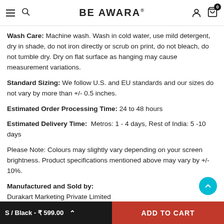BE AWARA
Wash Care: Machine wash. Wash in cold water, use mild detergent, dry in shade, do not iron directly or scrub on print, do not bleach, do not tumble dry. Dry on flat surface as hanging may cause measurement variations.
Standard Sizing: We follow U.S. and EU standards and our sizes do not vary by more than +/- 0.5 inches.
Estimated Order Processing Time: 24 to 48 hours
Estimated Delivery Time: Metros: 1 - 4 days, Rest of India: 5 -10 days
Please Note: Colours may slightly vary depending on your screen brightness. Product specifications mentioned above may vary by +/- 10%.
Manufactured and Sold by: Durakart Marketing Private Limited
Regent Garment & Apparel Park,
Block 16, Ground Floor, Kolkata - 700029
S / Black - ₹ 599.00    ADD TO CART